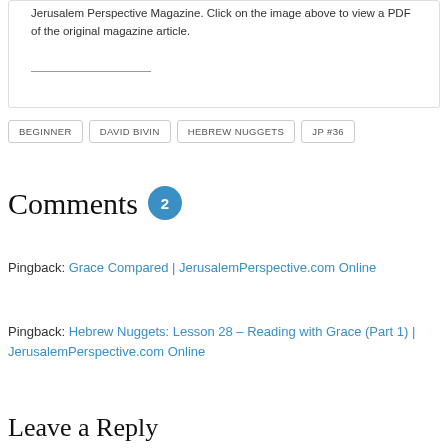Jerusalem Perspective Magazine. Click on the image above to view a PDF of the original magazine article.
BEGINNER
DAVID BIVIN
HEBREW NUGGETS
JP #36
Comments 2
Pingback: Grace Compared | JerusalemPerspective.com Online
Pingback: Hebrew Nuggets: Lesson 28 – Reading with Grace (Part 1) | JerusalemPerspective.com Online
Leave a Reply